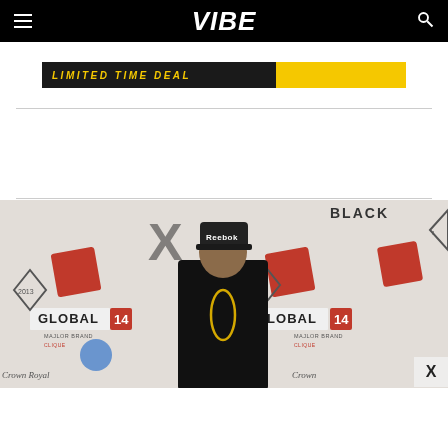VIBE
[Figure (screenshot): Advertisement banner showing 'LIMITED TIME DEAL' text on dark background with yellow accent]
[Figure (photo): Man wearing a Reebok snapback cap and black sweatshirt with gold chain standing in front of a step-and-repeat backdrop showing 'GLOBAL 14', '2013', 'MAJLOR BRAND CLIQUE', and 'BLACK' logos with red cube graphics]